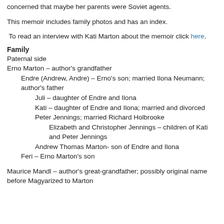concerned that maybe her parents were Soviet agents.
This memoir includes family photos and has an index.
To read an interview with Kati Marton about the memoir click here.
Family
Paternal side
Erno Marton – author's grandfather
Endre (Andrew, Andre) – Erno's son; married Ilona Neumann; author's father
Juli – daughter of Endre and Ilona
Kati – daughter of Endre and Ilona; married and divorced Peter Jennings; married Richard Holbrooke
Elizabeth and Christopher Jennings – children of Kati and Peter Jennings
Andrew Thomas Marton- son of Endre and Ilona
Feri – Erno Marton's son
Maurice Mandl – author's great-grandfather; possibly original name before Magyarized to Marton